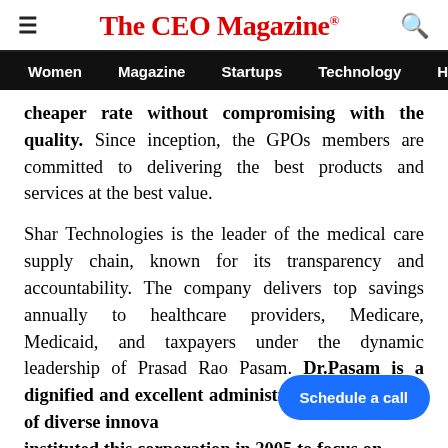The CEO Magazine
Women  Magazine  Startups  Technology  Health
cheaper rate without compromising with the quality. Since inception, the GPOs members are committed to delivering the best products and services at the best value.

Shar Technologies is the leader of the medical care supply chain, known for its transparency and accountability. The company delivers top savings annually to healthcare providers, Medicare, Medicaid, and taxpayers under the dynamic leadership of Prasad Rao Pasam. Dr.Pasam is a dignified and excellent administrator and initiator of diverse innova... instituted this corporation in 2005 to focus on
Schedule a call